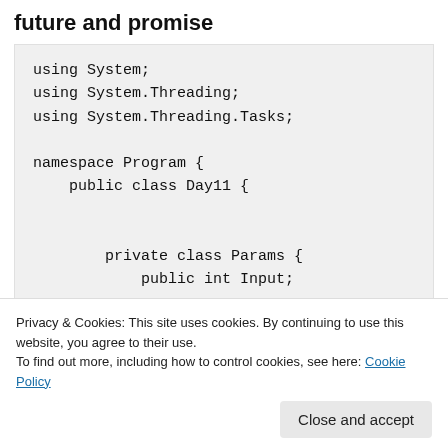future and promise
using System;
using System.Threading;
using System.Threading.Tasks;

namespace Program {
    public class Day11 {


        private class Params {
            public int Input;
Privacy & Cookies: This site uses cookies. By continuing to use this website, you agree to their use.
To find out more, including how to control cookies, see here: Cookie Policy
Close and accept
Console.WriteLine( DoSomething